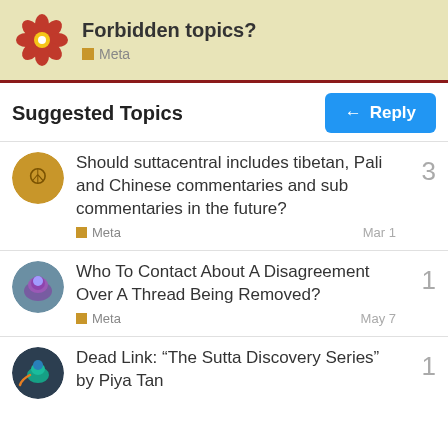Forbidden topics? Meta
Suggested Topics
Should suttacentral includes tibetan, Pali and Chinese commentaries and sub commentaries in the future? Meta Mar 1 — 3 replies
Who To Contact About A Disagreement Over A Thread Being Removed? Meta May 7 — 1 reply
Dead Link: “The Sutta Discovery Series” by Piya Tan — 1 reply